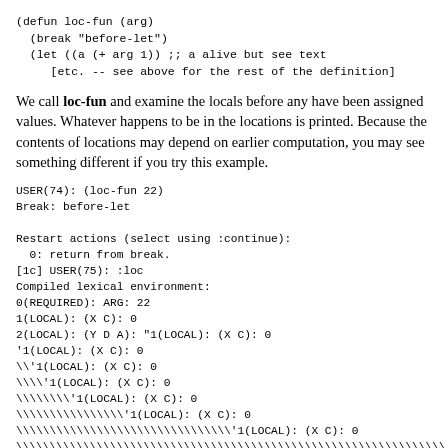(defun loc-fun (arg)
  (break "before-let")
  (let ((a (+ arg 1)) ;; a alive but see text
     [etc. -- see above for the rest of the definition]
We call loc-fun and examine the locals before any have been assigned values. Whatever happens to be in the locations is printed. Because the contents of locations may depend on earlier computation, you may see something different if you try this example.
USER(74): (loc-fun 22)
Break: before-let

Restart actions (select using :continue):
  0: return from break.
[1c] USER(75): :loc
Compiled lexical environment:
0(REQUIRED): ARG: 22
1(LOCAL): (X C): 0
2(LOCAL): (Y D A): "1(LOCAL): (X C): 0
'1(LOCAL): (X C): 0
\'1(LOCAL): (X C): 0
\\'1(LOCAL): (X C): 0
\\\\'1(LOCAL): (X C): 0
\\\\\\\\'1(LOCAL): (X C): 0
\\\\\\\\\\\\\\\\'1(LOCAL): (X C): 0
\\\\\\\\\\\\\\\\\\\\\\\\\\\\\\\\'1(LOCAL): (X C): 0
\\\\\\\\\\\\\\\\\\\\\\\\\\\\\\\\\\\\\\\\\\\\\\\\\\\\\\\\\\\\\\\\\
\\\\\\\\\\\\\\\\\\\\\\\\\\\\\\\\\\\\\\\\\\\\\\\\\\\\\\\\\\\\\\\\\